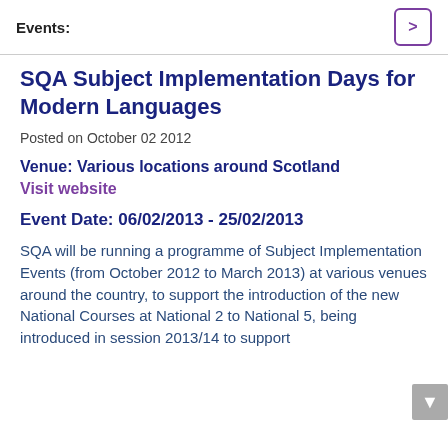Events:
SQA Subject Implementation Days for Modern Languages
Posted on October 02 2012
Venue: Various locations around Scotland
Visit website
Event Date: 06/02/2013 - 25/02/2013
SQA will be running a programme of Subject Implementation Events (from October 2012 to March 2013) at various venues around the country, to support the introduction of the new National Courses at National 2 to National 5, being introduced in session 2013/14 to support